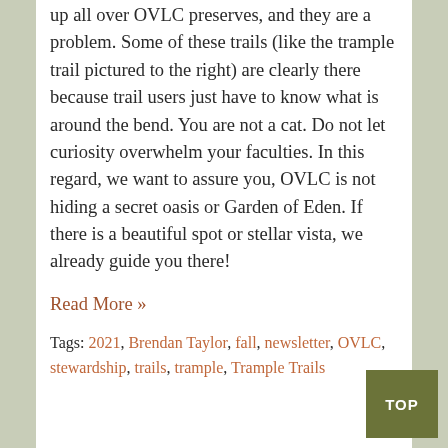up all over OVLC preserves, and they are a problem. Some of these trails (like the trample trail pictured to the right) are clearly there because trail users just have to know what is around the bend. You are not a cat. Do not let curiosity overwhelm your faculties. In this regard, we want to assure you, OVLC is not hiding a secret oasis or Garden of Eden. If there is a beautiful spot or stellar vista, we already guide you there!
Read More »
Tags: 2021, Brendan Taylor, fall, newsletter, OVLC, stewardship, trails, trample, Trample Trails